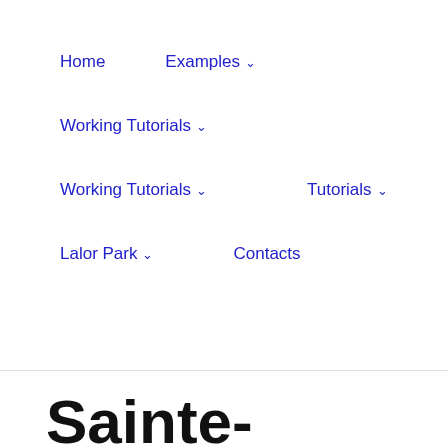Home    Examples ˅    Working Tutorials ˅    Working Tutorials ˅    Tutorials ˅    Lalor Park ˅    Contacts
Sainte-Marguerite du